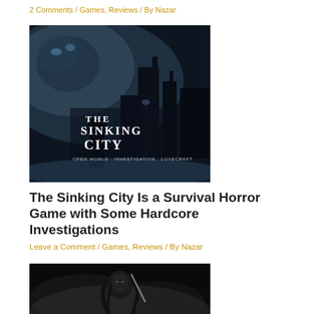2 Comments / Games, Reviews / By Nazar
[Figure (photo): The Sinking City game cover art showing a dark atmospheric scene with a silhouetted detective figure, gothic buildings, a large tentacled creature in the background, and the text 'THE SINKING CITY' with tagline 'Open World + Investigation + Lovecraft']
The Sinking City Is a Survival Horror Game with Some Hardcore Investigations
Leave a Comment / Games, Reviews / By Nazar
[Figure (photo): Dark fantasy game art showing a warrior character with dark hair holding a sword, with dramatic smoke or mist in the background]